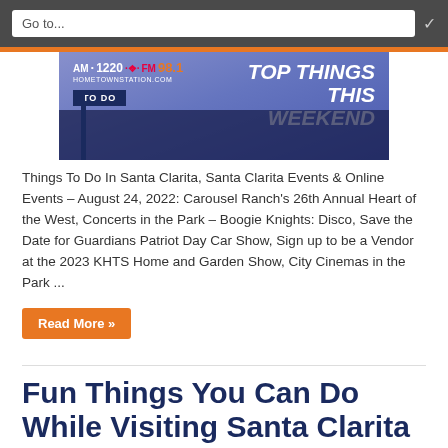Go to...
[Figure (photo): KHTS AM 1220 FM 98.1 HometownStation.com banner with text 'TOP THINGS TO DO THIS WEEKEND' over a stylized cityscape background]
Things To Do In Santa Clarita, Santa Clarita Events & Online Events – August 24, 2022: Carousel Ranch's 26th Annual Heart of the West, Concerts in the Park – Boogie Knights: Disco, Save the Date for Guardians Patriot Day Car Show, Sign up to be a Vendor at the 2023 KHTS Home and Garden Show, City Cinemas in the Park ...
Read More »
Fun Things You Can Do While Visiting Santa Clarita